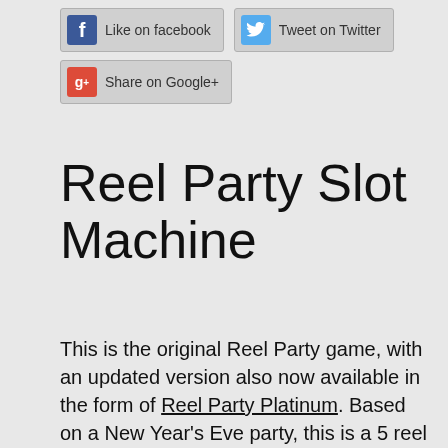[Figure (other): Social media share buttons: Like on Facebook, Tweet on Twitter, Share on Google+]
Reel Party Slot Machine
This is the original Reel Party game, with an updated version also now available in the form of Reel Party Platinum. Based on a New Year's Eve party, this is a 5 reel video slot game with a free spins bonus round and a break out bonus based on opening up more Champaign. The items on the reels are a mixture, and I am still not completely sure I understand how the baby (which is the wild symbol) fits in. You can expect the professional and smooth Rival Gaming production when